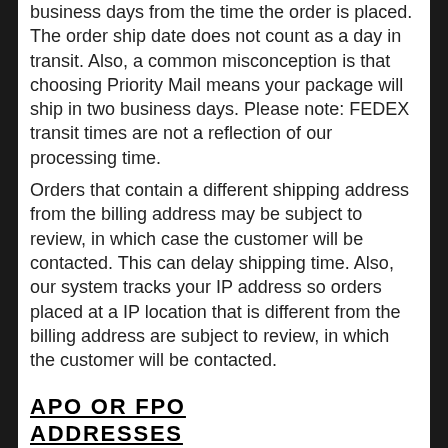business days from the time the order is placed. The order ship date does not count as a day in transit. Also, a common misconception is that choosing Priority Mail means your package will ship in two business days. Please note: FEDEX transit times are not a reflection of our processing time.
Orders that contain a different shipping address from the billing address may be subject to review, in which case the customer will be contacted. This can delay shipping time. Also, our system tracks your IP address so orders placed at a IP location that is different from the billing address are subject to review, in which the customer will be contacted.
APO OR FPO ADDRESSES
For APO or FPO addresses, please expect